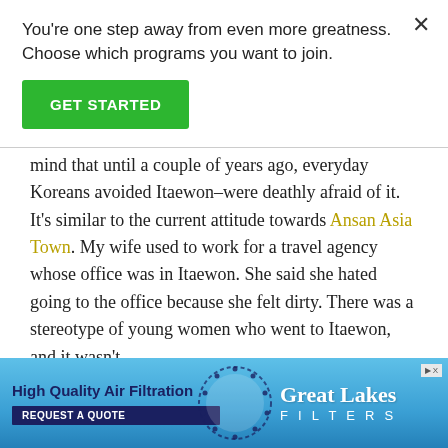You're one step away from even more greatness. Choose which programs you want to join.
GET STARTED
mind that until a couple of years ago, everyday Koreans avoided Itaewon–were deathly afraid of it. It's similar to the current attitude towards Ansan Asia Town. My wife used to work for a travel agency whose office was in Itaewon. She said she hated going to the office because she felt dirty. There was a stereotype of young women who went to Itaewon, and it wasn't nslutty
[Figure (screenshot): Advertisement banner for Great Lakes Filters showing 'High Quality Air Filtration' text, a circular logo, and 'Great Lakes FILTERS' branding on a blue gradient background with 'REQUEST A QUOTE' button]